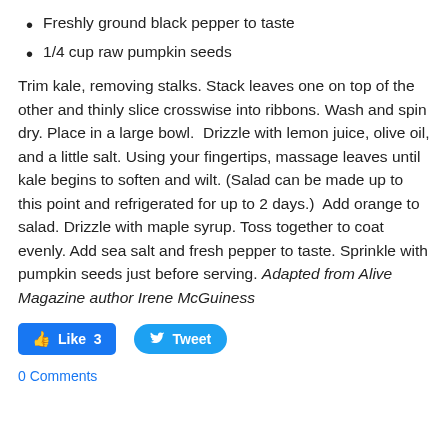Freshly ground black pepper to taste
1/4 cup raw pumpkin seeds
Trim kale, removing stalks. Stack leaves one on top of the other and thinly slice crosswise into ribbons. Wash and spin dry. Place in a large bowl.  Drizzle with lemon juice, olive oil, and a little salt. Using your fingertips, massage leaves until kale begins to soften and wilt. (Salad can be made up to this point and refrigerated for up to 2 days.)  Add orange to salad. Drizzle with maple syrup. Toss together to coat evenly. Add sea salt and fresh pepper to taste. Sprinkle with pumpkin seeds just before serving. Adapted from Alive Magazine author Irene McGuiness
[Figure (other): Like button showing '3' and Tweet button]
0 Comments